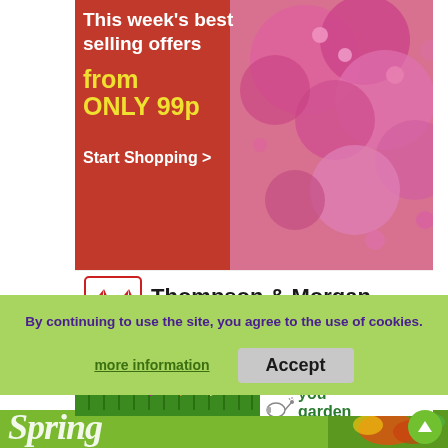[Figure (photo): Thompson & Morgan advertisement banner: red background with pink cherry blossom flowers on the right. White text reads 'This week's best selling offers', yellow text reads 'from ONLY 99p', white text reads 'Start Shopping >']
[Figure (logo): Thompson & Morgan logo with red and white tree icon, bold text 'Thompson & Morgan', italic tagline 'Experts in the garden since 1855']
[Figure (photo): YouGarden.com advertisement with colorful tulip fields photo, 'Shop Here' button in green, watering can icon and 'you garden .com' logo in green]
By continuing to use the site, you agree to the use of cookies.
more information
Accept
[Figure (photo): Spring banner in green with cursive white 'Spring' text and vegetable/food imagery on the right]